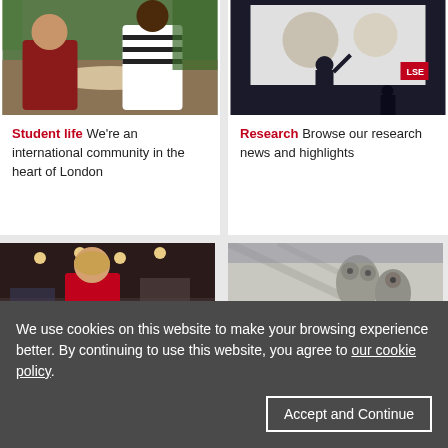[Figure (photo): Two women sitting at a table outdoors, appearing to be in conversation, with greenery in the background.]
[Figure (photo): A person presenting in front of a large projection screen at an LSE event, with silhouettes of audience members visible.]
Student life We're an international community in the heart of London
Research Browse our research news and highlights
[Figure (photo): A person wearing a red 'EVENT STEWARD' shirt viewed from behind in a conference or event hall.]
[Figure (photo): Close-up of stone architectural sculpture on the exterior of a classical building, showing owl or bird figures.]
We use cookies on this website to make your browsing experience better. By continuing to use this website, you agree to our cookie policy.